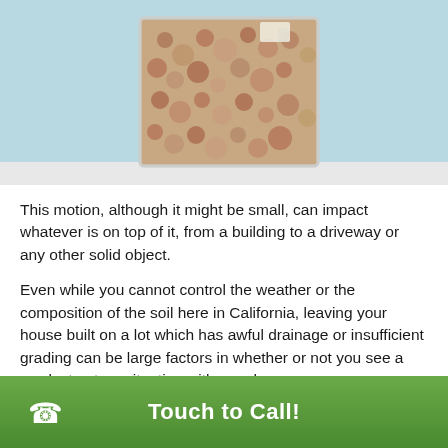[Figure (photo): A clear glass or acrylic container filled with small brown clay/soil pellets or beads, photographed against a light blue background on a white surface.]
This motion, although it might be small, can impact whatever is on top of it, from a building to a driveway or any other solid object.
Even while you cannot control the weather or the composition of the soil here in California, leaving your house built on a lot which has awful drainage or insufficient grading can be large factors in whether or not you see a weak structure situation with your home.
In addition, simply getting decent gutters can really help keep unwanted rain water away from your home. It's a basic fix that can have a big effect.
Touch to Call!